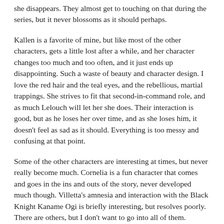she disappears. They almost get to touching on that during the series, but it never blossoms as it should perhaps.
Kallen is a favorite of mine, but like most of the other characters, gets a little lost after a while, and her character changes too much and too often, and it just ends up disappointing. Such a waste of beauty and character design. I love the red hair and the teal eyes, and the rebellious, martial trappings. She strives to fit that second-in-command role, and as much Lelouch will let her she does. Their interaction is good, but as he loses her over time, and as she loses him, it doesn't feel as sad as it should. Everything is too messy and confusing at that point.
Some of the other characters are interesting at times, but never really become much. Cornelia is a fun character that comes and goes in the ins and outs of the story, never developed much though. Villetta's amnesia and interaction with the Black Knight Kaname Ogi is briefly interesting, but resolves poorly. There are others, but I don't want to go into all of them.
Did I forget Suzaku? No, just I can't go into all that. He essentially fills whatever roll the crazy story requires him to fill temporarily. In that sense he's a very empty character, with nothing particular to define him. You could say if anything devotion to “duty” is his defining trait, but